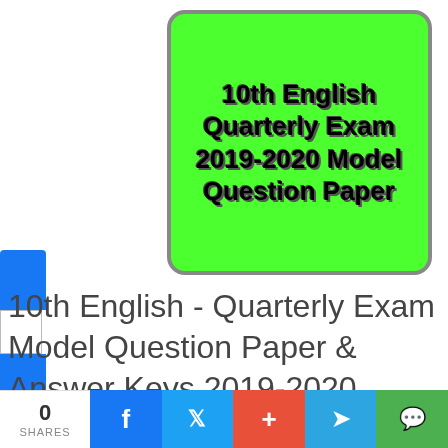[Figure (illustration): Green rounded square thumbnail with bold black text reading '10th English Quarterly Exam 2019-2020 Model Question Paper' on bright green background with dark border]
10th English - Quarterly Exam Model Question Paper & Answer Keys 2019-2020